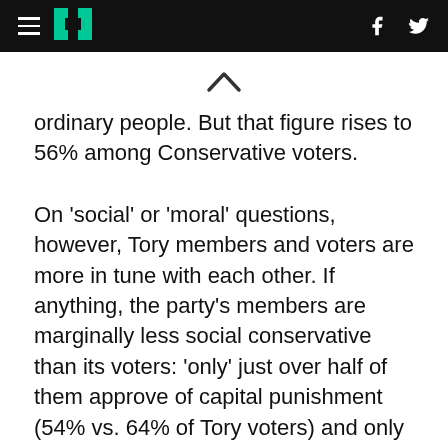HuffPost navigation header with hamburger menu, logo, Facebook and Twitter icons
[Figure (other): Up chevron/caret symbol indicating scroll up]
ordinary people. But that figure rises to 56% among Conservative voters.
On 'social' or 'moral' questions, however, Tory members and voters are more in tune with each other. If anything, the party's members are marginally less social conservative than its voters: 'only' just over half of them approve of capital punishment (54% vs. 64% of Tory voters) and only just under half think censorship is necessary to uphold moral standards (44% vs. 55% of Tory voters), although well over two-thirds